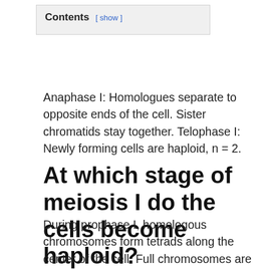| Contents [ show ] |
| --- |
Anaphase I: Homologues separate to opposite ends of the cell. Sister chromatids stay together. Telophase I: Newly forming cells are haploid, n = 2.
At which stage of meiosis I do the cells become haploid?
During prophase I, homologous chromosomes form tetrads along the center of the cell. Full chromosomes are pulled to each pole during anaphase I, resulting in two haploid cells at the end of meiosis I.